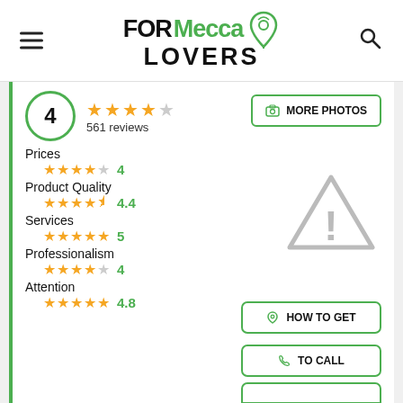FOR Mecca LOVERS
4 ★★★★☆ 561 reviews
MORE PHOTOS
Prices ★★★★☆ 4
Product Quality ★★★★½ 4.4
Services ★★★★★ 5
Professionalism ★★★★☆ 4
Attention ★★★★★ 4.8
HOW TO GET
TO CALL